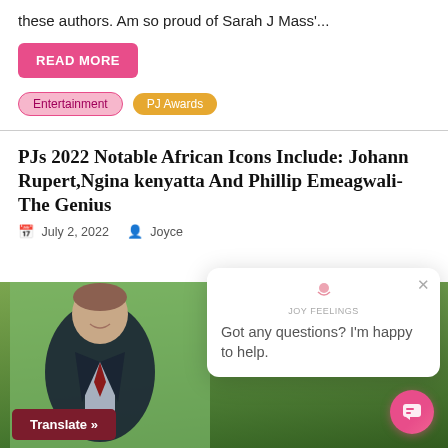these authors. Am so proud of Sarah J Mass'...
READ MORE
Entertainment   PJ Awards
PJs 2022 Notable African Icons Include: Johann Rupert,Ngina kenyatta And Phillip Emeagwali-The Genius
July 2, 2022   Joyce
[Figure (photo): Photo of a man in a dark suit with a red tie, green blurred background, with a 'Translate »' button overlay and a chat popup overlay showing 'Got any questions? I'm happy to help.']
Translate »
Got any questions? I'm happy to help.